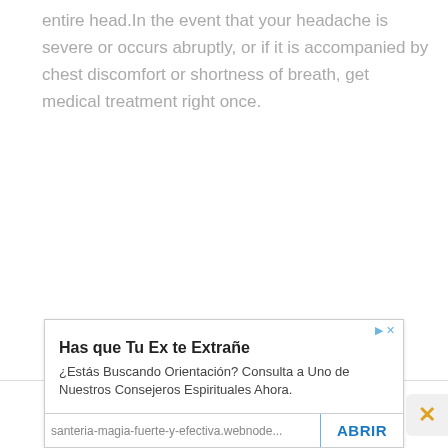entire head.In the event that your headache is severe or occurs abruptly, or if it is accompanied by chest discomfort or shortness of breath, get medical treatment right once.
Leave a Reply
Your email address will not be published. Required
[Figure (other): Advertisement overlay: 'Has que Tu Ex te Extrañe' with description '¿Estás Buscando Orientación? Consulta a Uno de Nuestros Consejeros Espirituales Ahora.' and a button 'ABRIR', URL santeria-magia-fuerte-y-efectiva.webnode...]